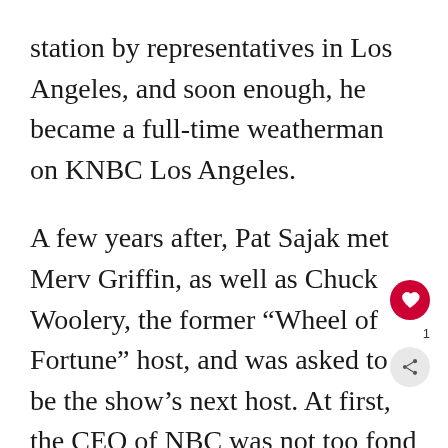station by representatives in Los Angeles, and soon enough, he became a full-time weatherman on KNBC Los Angeles.
A few years after, Pat Sajak met Merv Griffin, as well as Chuck Woolery, the former “Wheel of Fortune” host, and was asked to be the show’s next host. At first, the CEO of NBC was not too fond of Pat Sajak becoming the next host because he was thought to be too “local”